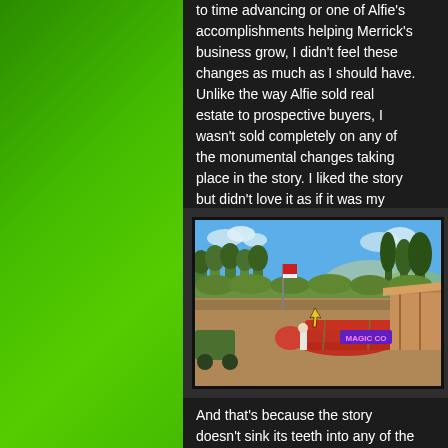to time advancing or one of Alfie's accomplishments helping Merrick's business grow, I didn't feel these changes as much as I should have. Unlike the way Alfie sold real estate to prospective buyers, I wasn't sold completely on any of the monumental changes taking place in the story. I liked the story but didn't love it as if it was my own.
[Figure (screenshot): A video game screenshot showing a vintage biplane on a dirt airfield. A character in white stands near the plane. There are trees in the background, a blue sky with clouds, and a green cart visible on the left. A yellow cursor arrow is visible in the middle of the scene. The plane appears to have text on it reading 'MAGIC CO' or similar.]
And that's because the story doesn't sink its teeth into any of the subject matter it deals with so the impact of the events taking place is lessened. We're not shown how the real estate market boomed in the area or the